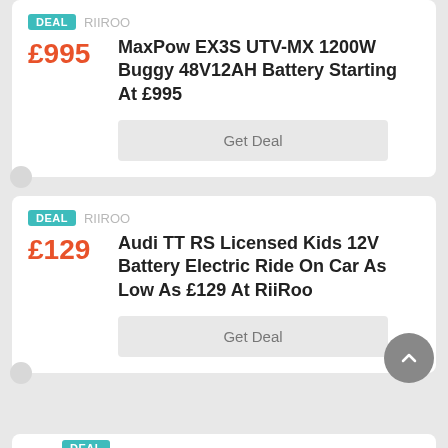DEAL RIIROO — MaxPow EX3S UTV-MX 1200W Buggy 48V12AH Battery Starting At £995 — £995 — Get Deal
DEAL RIIROO — Audi TT RS Licensed Kids 12V Battery Electric Ride On Car As Low As £129 At RiiRoo — £129 — Get Deal